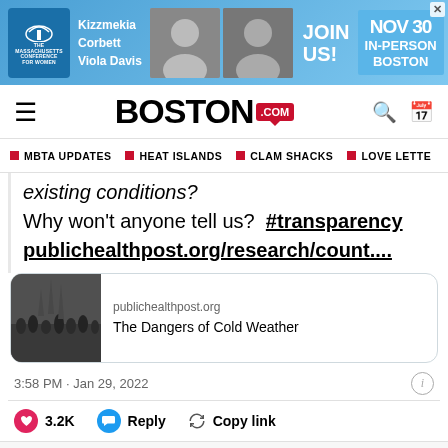[Figure (screenshot): Advertisement banner for The Massachusetts Conference for Women featuring Kizzmekia Corbett and Viola Davis, with 'JOIN US! NOV 30 IN-PERSON BOSTON' text]
BOSTON.com navigation bar with hamburger menu, Boston.com logo, search and calendar icons
MBTA UPDATES  HEAT ISLANDS  CLAM SHACKS  LOVE LETTE
existing conditions?
Why won't anyone tell us?  #transparency
publichealthpost.org/research/count....
[Figure (photo): Link preview thumbnail - black and white crowd photo]
publichealthpost.org
The Dangers of Cold Weather
3:58 PM · Jan 29, 2022
3.2K  Reply  Copy link